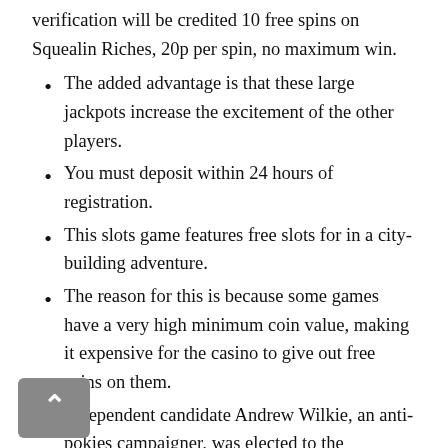verification will be credited 10 free spins on Squealin Riches, 20p per spin, no maximum win.
The added advantage is that these large jackpots increase the excitement of the other players.
You must deposit within 24 hours of registration.
This slots game features free slots for in a city-building adventure.
The reason for this is because some games have a very high minimum coin value, making it expensive for the casino to give out free spins on them.
Independent candidate Andrew Wilkie, an anti-pokies campaigner, was elected to the Australian House of Representatives seat of Denison at the 2010 federal election.
New players may benefit from reading our beginner's